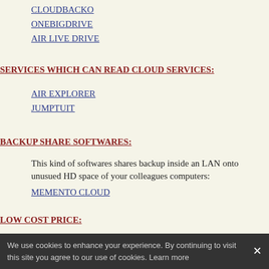CLOUDBACKO
ONEBIGDRIVE
AIR LIVE DRIVE
SERVICES WHICH CAN READ CLOUD SERVICES:
AIR EXPLORER
JUMPTUIT
BACKUP SHARE SOFTWARES:
This kind of softwares shares backup inside an LAN onto unusued HD space of your colleagues computers:
MEMENTO CLOUD
LOW COST PRICE:
WEBCITY.COM.AU (10 GB storage and 10 GB of traffic for 1$58 per month)
We use cookies to enhance your experience. By continuing to visit this site you agree to our use of cookies. Learn more